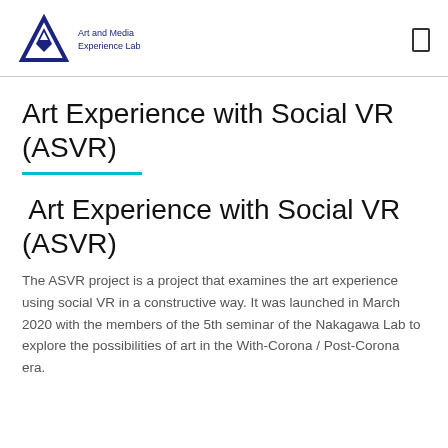Art and Media Experience Lab
Art Experience with Social VR (ASVR)
Art Experience with Social VR (ASVR)
The ASVR project is a project that examines the art experience using social VR in a constructive way. It was launched in March 2020 with the members of the 5th seminar of the Nakagawa Lab to explore the possibilities of art in the With-Corona / Post-Corona era.